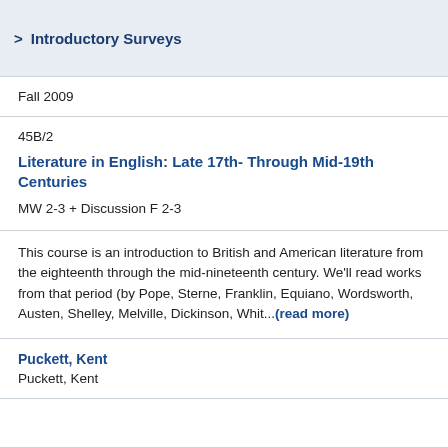> Introductory Surveys
Fall 2009
45B/2
Literature in English: Late 17th- Through Mid-19th Centuries
MW 2-3 + Discussion F 2-3
This course is an introduction to British and American literature from the eighteenth through the mid-nineteenth century. We'll read works from that period (by Pope, Sterne, Franklin, Equiano, Wordsworth, Austen, Shelley, Melville, Dickinson, Whit...(read more)
Puckett, Kent
Puckett, Kent